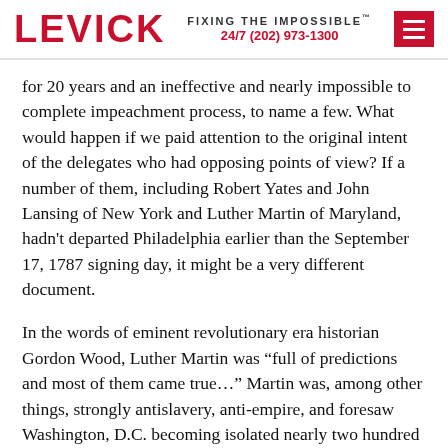LEVICK — FIXING THE IMPOSSIBLE™ 24/7 (202) 973-1300
for 20 years and an ineffective and nearly impossible to complete impeachment process, to name a few. What would happen if we paid attention to the original intent of the delegates who had opposing points of view? If a number of them, including Robert Yates and John Lansing of New York and Luther Martin of Maryland, hadn't departed Philadelphia earlier than the September 17, 1787 signing day, it might be a very different document.
In the words of eminent revolutionary era historian Gordon Wood, Luther Martin was “full of predictions and most of them came true…” Martin was, among other things, strongly antislavery, anti-empire, and foresaw Washington, D.C. becoming isolated nearly two hundred years before the term “inside the Beltway” became popular. Had he and others prevailed, we likely would have been better served and our politics today